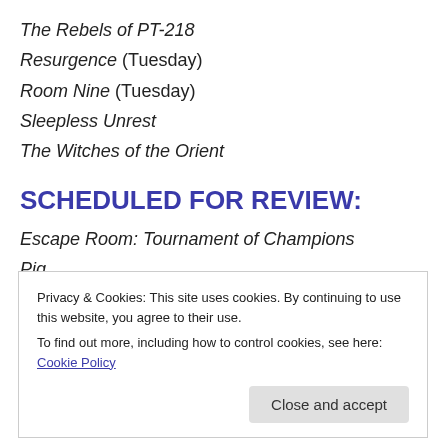The Rebels of PT-218
Resurgence (Tuesday)
Room Nine (Tuesday)
Sleepless Unrest
The Witches of the Orient
SCHEDULED FOR REVIEW:
Escape Room: Tournament of Champions
Pig
Privacy & Cookies: This site uses cookies. By continuing to use this website, you agree to their use.
To find out more, including how to control cookies, see here: Cookie Policy